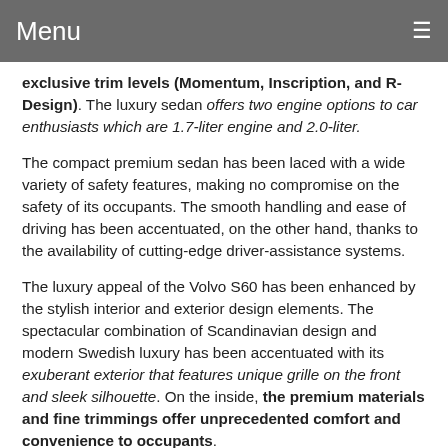Menu
exclusive trim levels (Momentum, Inscription, and R-Design). The luxury sedan offers two engine options to car enthusiasts which are 1.7-liter engine and 2.0-liter.
The compact premium sedan has been laced with a wide variety of safety features, making no compromise on the safety of its occupants. The smooth handling and ease of driving has been accentuated, on the other hand, thanks to the availability of cutting-edge driver-assistance systems.
The luxury appeal of the Volvo S60 has been enhanced by the stylish interior and exterior design elements. The spectacular combination of Scandinavian design and modern Swedish luxury has been accentuated with its exuberant exterior that features unique grille on the front and sleek silhouette. On the inside, the premium materials and fine trimmings offer unprecedented comfort and convenience to occupants.
The 2021 Volvo S60 offers a complete package to luxury car buyers when it comes to advanced drivetrain technologies, versatile in-cabin amenities and impressive performance.